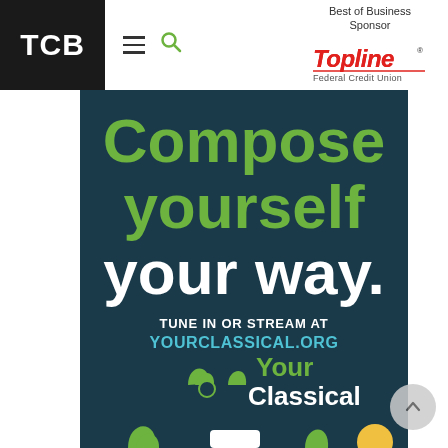[Figure (logo): TCB logo — white bold letters on black background]
[Figure (logo): Navigation icons: hamburger menu and green search icon]
Best of Business Sponsor
[Figure (logo): TopLine Federal Credit Union logo in red and grey]
[Figure (illustration): YourClassical MPR advertisement on dark teal background with text: Compose yourself your way. TUNE IN OR STREAM AT YOURCLASSICAL.ORG. YourClassical logo and decorative leaf/note icons at bottom.]